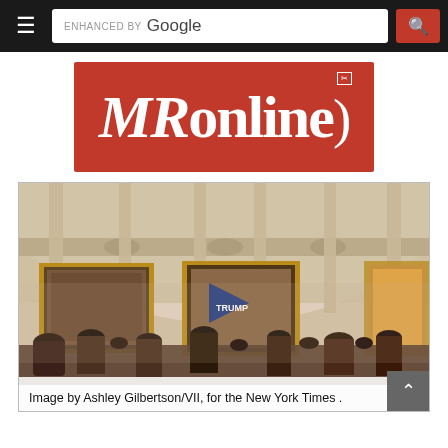ENHANCED BY Google [search bar with red search button]
[Figure (logo): MRonline logo — white serif italic text on red background with a small phone/bracket icon in top right corner]
[Figure (photo): Interior of the US Capitol Rotunda during the January 6, 2021 breach. People with Trump flags and banners are visible in the foreground. Large historical paintings in gilded frames line the curved rotunda walls, with ornate stone columns and decorative friezes above.]
Image by Ashley Gilbertson/VII, for the New York Times .